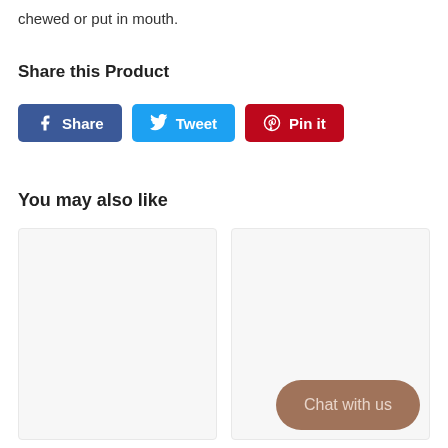chewed or put in mouth.
Share this Product
[Figure (other): Social share buttons: Facebook Share, Twitter Tweet, Pinterest Pin it]
You may also like
[Figure (other): Two product card placeholders side by side]
Chat with us